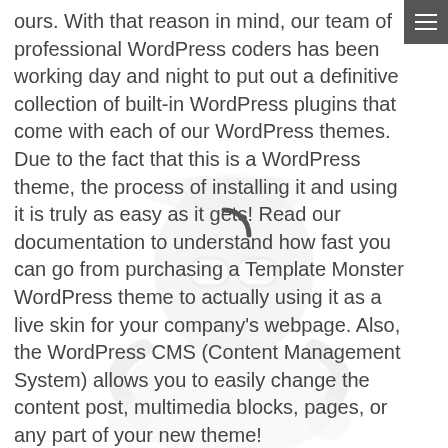ours. With that reason in mind, our team of professional WordPress coders has been working day and night to put out a definitive collection of built-in WordPress plugins that come with each of our WordPress themes. Due to the fact that this is a WordPress theme, the process of installing it and using it is truly as easy as it gets! Read our documentation to understand how fast you can go from purchasing a Template Monster WordPress theme to actually using it as a live skin for your company's webpage. Also, the WordPress CMS (Content Management System) allows you to easily change the content post, multimedia blocks, pages, or any part of your new theme!
[Figure (illustration): Mailchimp-style mascot character with goggles and a hat, displayed as a faded watermark in the lower half of the page. A loading spinner is visible in the center of the page.]